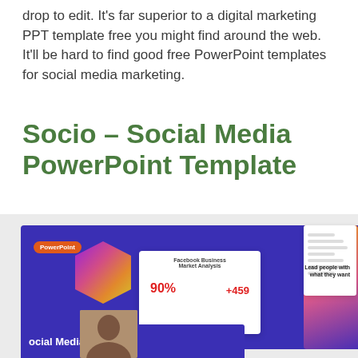drop to edit. It's far superior to a digital marketing PPT template free you might find around the web. It'll be hard to find good free PowerPoint templates for social media marketing.
Socio – Social Media PowerPoint Template
[Figure (screenshot): Screenshot composite of Socio Social Media PowerPoint template slides showing purple and colorful slide designs with Facebook Business Market Analysis stats (90%, +459), rainbow hexagonal graphic, and person photos]